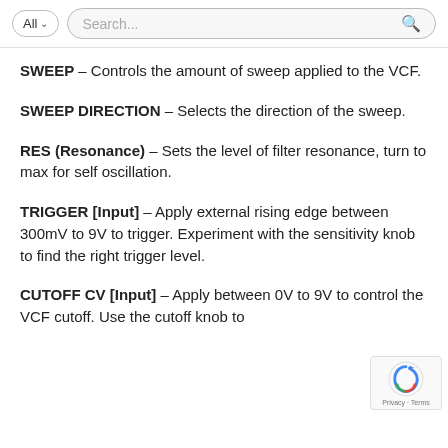All  Search...
SWEEP – Controls the amount of sweep applied to the VCF.
SWEEP DIRECTION – Selects the direction of the sweep.
RES (Resonance) – Sets the level of filter resonance, turn to max for self oscillation.
TRIGGER [Input] – Apply external rising edge between 300mV to 9V to trigger. Experiment with the sensitivity knob to find the right trigger level.
CUTOFF CV [Input] – Apply between 0V to 9V to control the VCF cutoff. Use the cutoff knob to